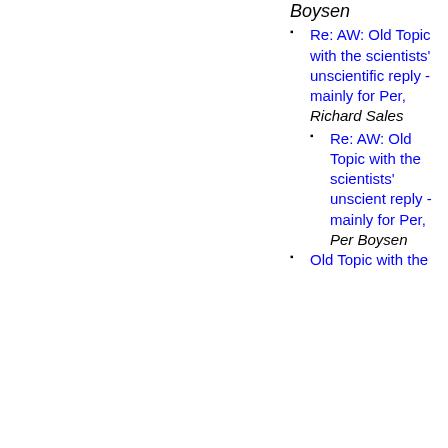Boysen
Re: AW: Old Topic with the scientists' unscientific reply - mainly for Per, Richard Sales
Re: AW: Old Topic with the scientists' unscientific reply - mainly for Per, Per Boysen
Old Topic with the